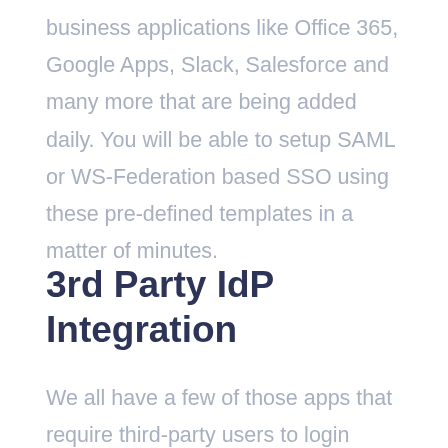business applications like Office 365, Google Apps, Slack, Salesforce and many more that are being added daily. You will be able to setup SAML or WS-Federation based SSO using these pre-defined templates in a matter of minutes.
3rd Party IdP Integration
We all have a few of those apps that require third-party users to login using their